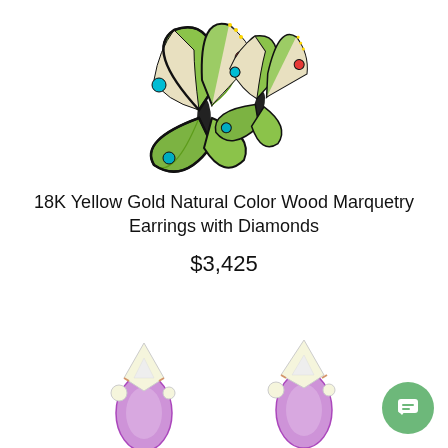[Figure (photo): Two butterfly-shaped earrings with green, teal, red, and black enamel marquetry on yellow gold, displayed on white background]
18K Yellow Gold Natural Color Wood Marquetry Earrings with Diamonds
$3,425
[Figure (photo): Two floral cluster earrings with pink/purple pear-shaped gemstones and diamond accents on rose gold, partially visible at bottom of page]
[Figure (other): Green circular chat/messaging button with white speech bubble icon in bottom right corner]